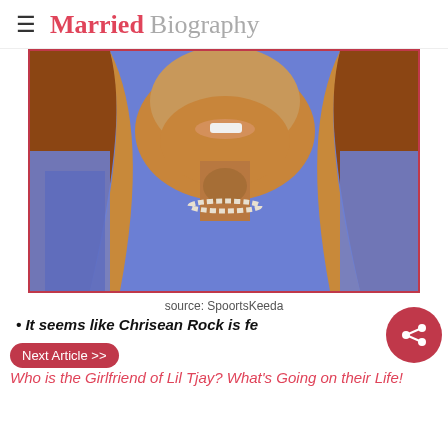Married Biography
[Figure (photo): Close-up photo of a woman with long auburn/blonde hair, blue lace outfit, neck tattoo, and pearl choker necklace, smiling]
source: SpoortsKeeda
It seems like Chrisean Rock is fe…
Next Article >> Who is the Girlfriend of Lil Tjay? What's Going on their Life!